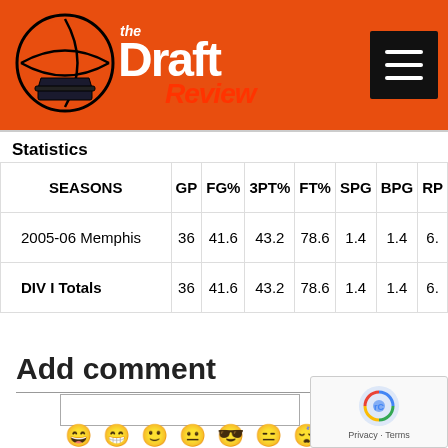[Figure (logo): The Draft Review website logo on orange header background with hamburger menu icon]
Statistics
| SEASONS | GP | FG% | 3PT% | FT% | SPG | BPG | RP |
| --- | --- | --- | --- | --- | --- | --- | --- |
| 2005-06 Memphis | 36 | 41.6 | 43.2 | 78.6 | 1.4 | 1.4 | 6. |
| DIV I Totals | 36 | 41.6 | 43.2 | 78.6 | 1.4 | 1.4 | 6. |
Add comment
[Figure (infographic): Row of emoji face icons for comment reactions]
[Figure (screenshot): reCAPTCHA widget with Privacy and Terms links]